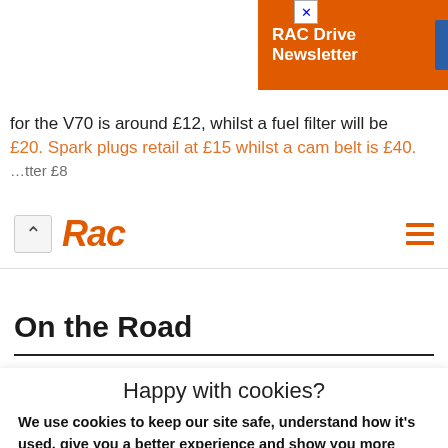[Figure (screenshot): RAC Drive Newsletter orange ad banner with Subscribe me button]
for the V70 is around £12, whilst a fuel filter will be £20. Spark plugs retail at £15 whilst a cam belt is £40. …tter £8
RAC (logo) — navigation bar with hamburger menu
On the Road
Happy with cookies?
We use cookies to keep our site safe, understand how it's used, give you a better experience and show you more relevant ads. Read how we - and our partners - use cookies.
Yes, that's fine
No, manage cookies